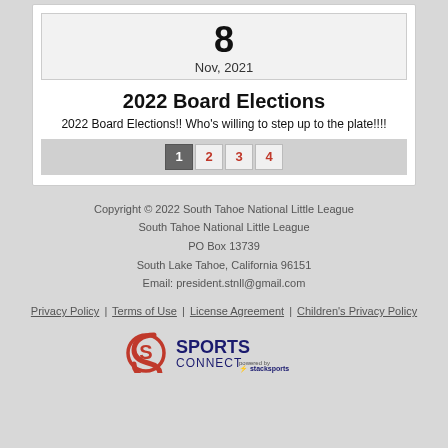8
Nov, 2021
2022 Board Elections
2022 Board Elections!! Who's willing to step up to the plate!!!!
Pagination: 1 2 3 4
Copyright © 2022 South Tahoe National Little League
South Tahoe National Little League
PO Box 13739
South Lake Tahoe, California 96151
Email: president.stnll@gmail.com
Privacy Policy | Terms of Use | License Agreement | Children's Privacy Policy
[Figure (logo): Sports Connect powered by Stack Sports logo]